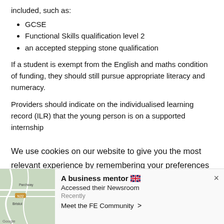included, such as:
GCSE
Functional Skills qualification level 2
an accepted stepping stone qualification
If a student is exempt from the English and maths condition of funding, they should still pursue appropriate literacy and numeracy.
Providers should indicate on the individualised learning record (ILR) that the young person is on a supported internship
We use cookies on our website to give you the most relevant experience by remembering your preferences and repeat visits. By clicking “Accept”, you consent to the use of ALL the cookies. However you may visit Cookie
A business mentor 🇬🇧
Accessed their Newsroom
Recently
Meet the FE Community >